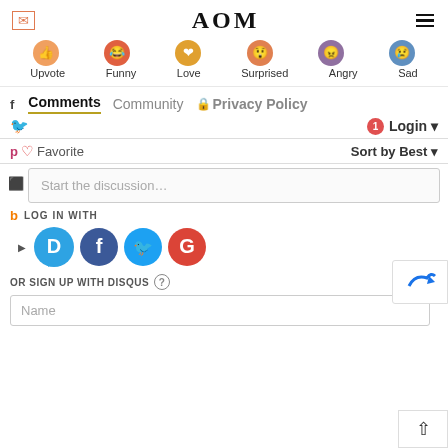AOM
[Figure (infographic): Reaction emoji row showing Upvote, Funny, Love, Surprised, Angry, Sad with circular colored icons]
Upvote  Funny  Love  Surprised  Angry  Sad
Comments  Community  🔒 Privacy Policy
1  Login ▾
♡ Favorite   Sort by Best ▾
Start the discussion...
LOG IN WITH
[Figure (infographic): Social login buttons: Disqus (D), Facebook (f), Twitter bird, Google (G)]
OR SIGN UP WITH DISQUS ?
Name